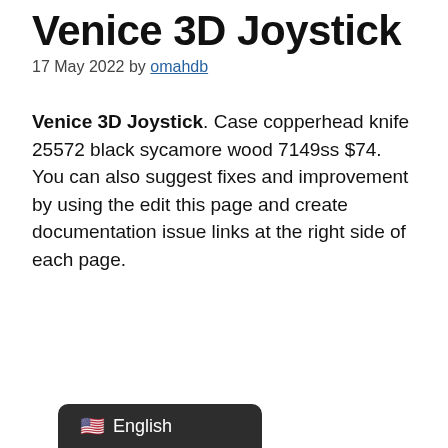Venice 3D Joystick
17 May 2022 by omahdb
Venice 3D Joystick. Case copperhead knife 25572 black sycamore wood 7149ss $74. You can also suggest fixes and improvement by using the edit this page and create documentation issue links at the right side of each page.
English